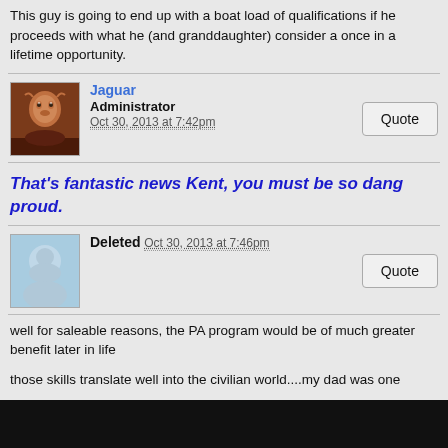This guy is going to end up with a boat load of qualifications if he proceeds with what he (and granddaughter) consider a once in a lifetime opportunity.
Jaguar
Administrator
Oct 30, 2013 at 7:42pm
Quote
That's fantastic news Kent, you must be so dang proud.
Deleted
Oct 30, 2013 at 7:46pm
Quote
well for saleable reasons, the PA program would be of much greater benefit later in life
those skills translate well into the civilian world....my dad was one
but either way, it sounds like he is one hell of a young man